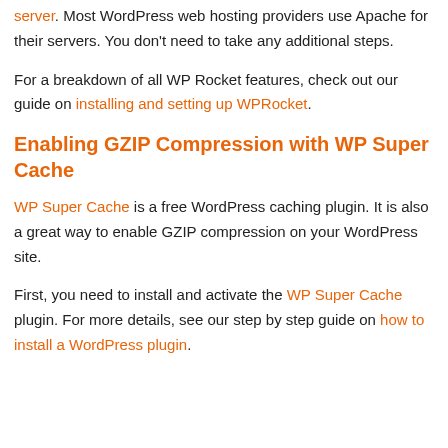server. Most WordPress web hosting providers use Apache for their servers. You don't need to take any additional steps.
For a breakdown of all WP Rocket features, check out our guide on installing and setting up WPRocket.
Enabling GZIP Compression with WP Super Cache
WP Super Cache is a free WordPress caching plugin. It is also a great way to enable GZIP compression on your WordPress site.
First, you need to install and activate the WP Super Cache plugin. For more details, see our step by step guide on how to install a WordPress plugin.